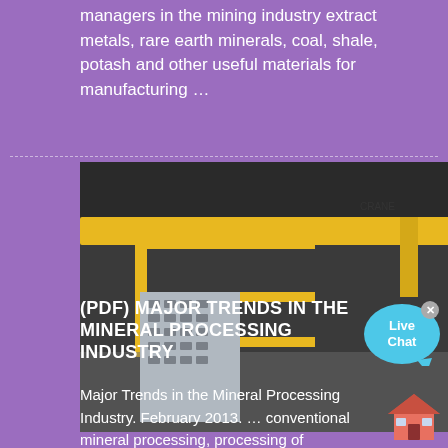managers in the mining industry extract metals, rare earth minerals, coal, shale, potash and other useful materials for manufacturing …
[Figure (photo): Interior of an industrial manufacturing facility with yellow overhead cranes and an AMC logo visible in the lower right]
(PDF) MAJOR TRENDS IN THE MINERAL PROCESSING INDUSTRY
Major Trends in the Mineral Processing Industry. February 2013. … conventional mineral processing, processing of functional minerals and processing of